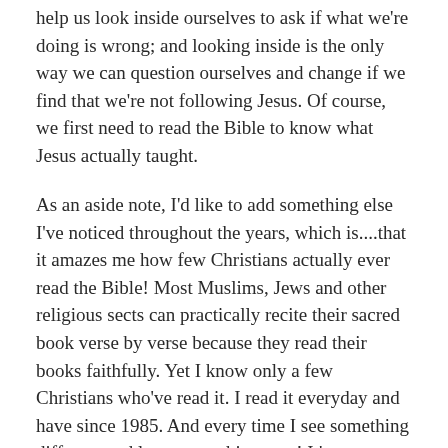help us look inside ourselves to ask if what we're doing is wrong; and looking inside is the only way we can question ourselves and change if we find that we're not following Jesus. Of course, we first need to read the Bible to know what Jesus actually taught.
As an aside note, I'd like to add something else I've noticed throughout the years, which is....that it amazes me how few Christians actually ever read the Bible! Most Muslims, Jews and other religious sects can practically recite their sacred book verse by verse because they read their books faithfully. Yet I know only a few Christians who've read it. I read it everyday and have since 1985. And every time I see something different and learn something new! It's an amazing book. I hope not to offend anyone when I say that as a former Catholic, I know that until a few years ago the